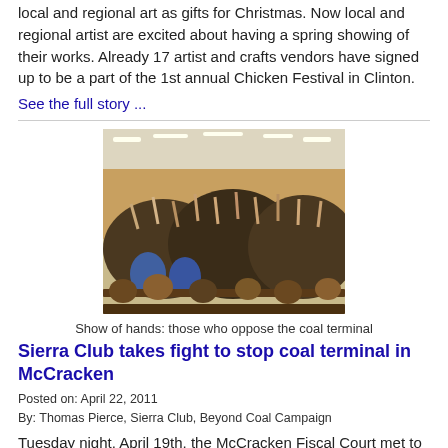local and regional art as gifts for Christmas. Now local and regional artist are excited about having a spring showing of their works. Already 17 artist and crafts vendors have signed up to be a part of the 1st annual Chicken Festival in Clinton.
See the full story ...
[Figure (photo): A crowded meeting hall with people raising hands in a show of hands vote against the coal terminal]
Show of hands: those who oppose the coal terminal
Sierra Club takes fight to stop coal terminal in McCracken
Posted on: April 22, 2011
By: Thomas Pierce, Sierra Club, Beyond Coal Campaign
Tuesday night, April 19th, the McCracken Fiscal Court met to consider a rezoning request by Southern Coal. The meeting was attended by 200 residents opposed to the zone change. The meeting went on for three hours... Here's an account of that